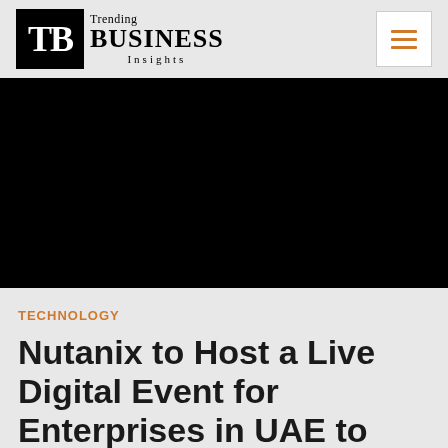TB Trending BUSINESS Insights
[Figure (photo): Black hero image banner]
TECHNOLOGY
Nutanix to Host a Live Digital Event for Enterprises in UAE to